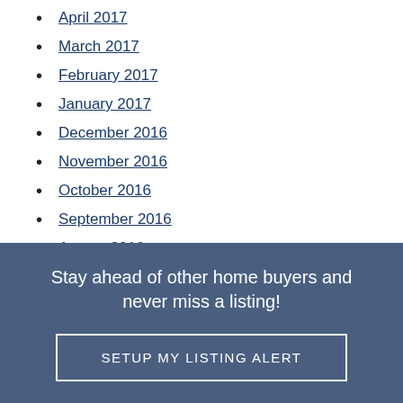April 2017
March 2017
February 2017
January 2017
December 2016
November 2016
October 2016
September 2016
August 2016
Stay ahead of other home buyers and never miss a listing!
SETUP MY LISTING ALERT